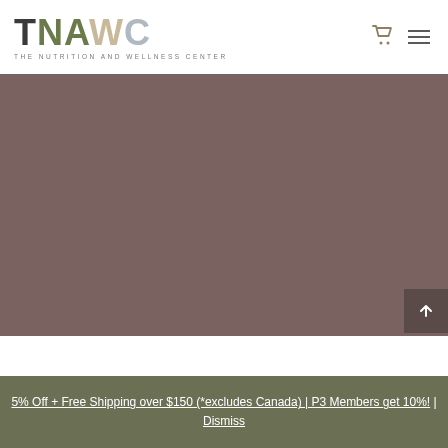TNAWC THE NUTRITION AND WELLNESS CENTER
[Figure (screenshot): Large mauve/taupe brown hero image area, approximately 262px tall, no visible content]
5% Off + Free Shipping over $150 (*excludes Canada) | P3 Members get 10%! | Dismiss